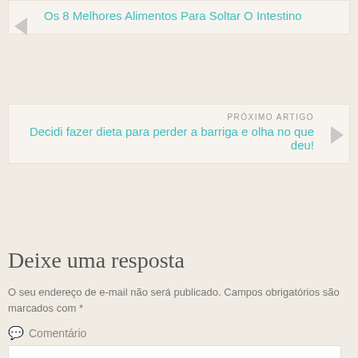Os 8 Melhores Alimentos Para Soltar O Intestino
PRÓXIMO ARTIGO
Decidi fazer dieta para perder a barriga e olha no que deu!
Deixe uma resposta
O seu endereço de e-mail não será publicado. Campos obrigatórios são marcados com *
Comentário